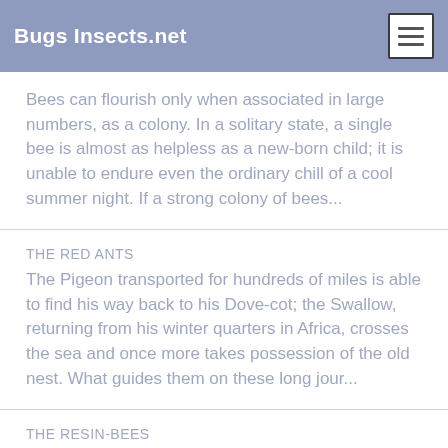Bugs Insects.net
Bees can flourish only when associated in large numbers, as a colony. In a solitary state, a single bee is almost as helpless as a new-born child; it is unable to endure even the ordinary chill of a cool summer night. If a strong colony of bees...
THE RED ANTS
The Pigeon transported for hundreds of miles is able to find his way back to his Dove-cot; the Swallow, returning from his winter quarters in Africa, crosses the sea and once more takes possession of the old nest. What guides them on these long jour...
THE RESIN-BEES
At the time when Fabricius (Johann Christian Fabricius (1745-1808), a noted Danish entomologist, author of "Systema entomologiae" (1775).-- Translator's Note.) gave the genus Anthidium its name, a name still used